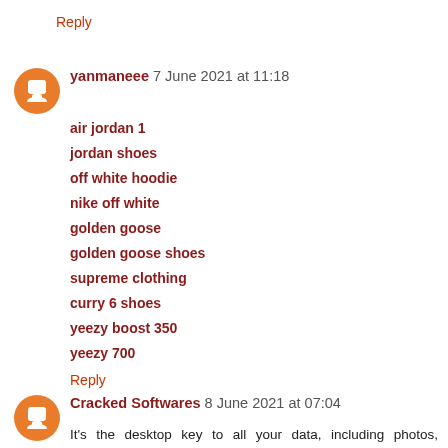Reply
yanmaneee 7 June 2021 at 11:18
air jordan 1
jordan shoes
off white hoodie
nike off white
golden goose
golden goose shoes
supreme clothing
curry 6 shoes
yeezy boost 350
yeezy 700
Reply
Cracked Softwares 8 June 2021 at 07:04
It's the desktop key to all your data, including photos, documents, and other files. The best thing is that your data remains in the original place. So there are no problems